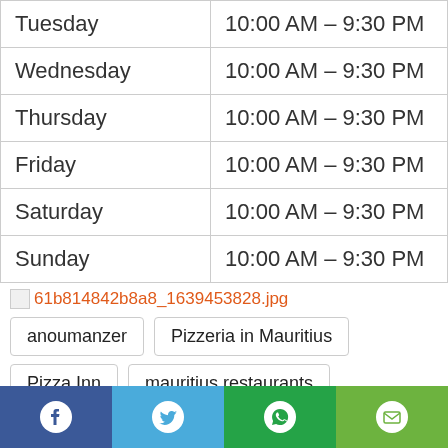| Day | Hours |
| --- | --- |
| Tuesday | 10:00 AM – 9:30 PM |
| Wednesday | 10:00 AM – 9:30 PM |
| Thursday | 10:00 AM – 9:30 PM |
| Friday | 10:00 AM – 9:30 PM |
| Saturday | 10:00 AM – 9:30 PM |
| Sunday | 10:00 AM – 9:30 PM |
[Figure (photo): Broken image placeholder with filename link: 61b814842b8a8_1639453828.jpg]
anoumanzer
Pizzeria in Mauritius
Pizza Inn
mauritius restaurants
Pizza Inn saint pierre
Pizza Inn riche terre